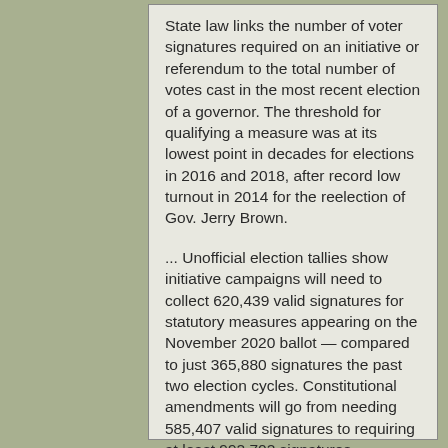State law links the number of voter signatures required on an initiative or referendum to the total number of votes cast in the most recent election of a governor. The threshold for qualifying a measure was at its lowest point in decades for elections in 2016 and 2018, after record low turnout in 2014 for the reelection of Gov. Jerry Brown.
... Unofficial election tallies show initiative campaigns will need to collect 620,439 valid signatures for statutory measures appearing on the November 2020 ballot — compared to just 365,880 signatures the past two election cycles. Constitutional amendments will go from needing 585,407 valid signatures to requiring at least 992,702 signatures.
L.A.Times, December 8, 2018